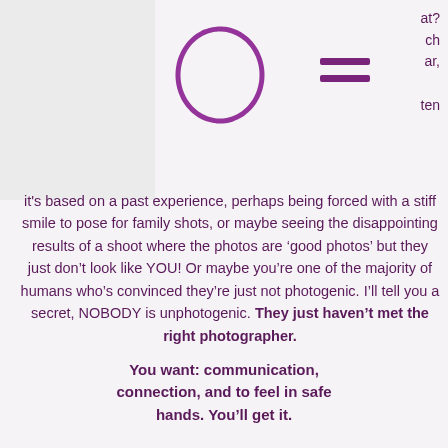[Figure (illustration): A hand-drawn style purple circle (ring/loop) on the left, an equals sign (two horizontal bars) in purple in the center, and partially visible text on the right reading 'at? ch ar, ten']
it's based on a past experience, perhaps being forced with a stiff smile to pose for family shots, or maybe seeing the disappointing results of a shoot where the photos are ‘good photos’ but they just don’t look like YOU! Or maybe you’re one of the majority of humans who’s convinced they’re just not photogenic. I’ll tell you a secret, NOBODY is unphotogenic. They just haven’t met the right photographer.
You want: communication, connection, and to feel in safe hands. You’ll get it.